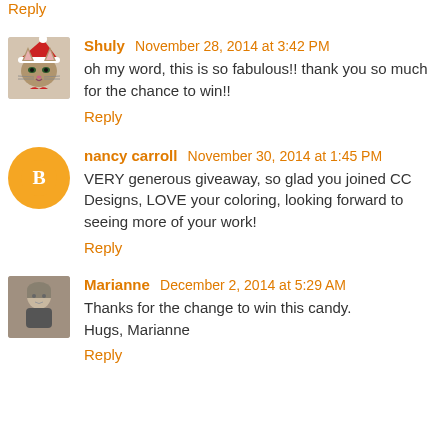Reply
Shuly November 28, 2014 at 3:42 PM
oh my word, this is so fabulous!! thank you so much for the chance to win!!
Reply
nancy carroll November 30, 2014 at 1:45 PM
VERY generous giveaway, so glad you joined CC Designs, LOVE your coloring, looking forward to seeing more of your work!
Reply
Marianne December 2, 2014 at 5:29 AM
Thanks for the change to win this candy.
Hugs, Marianne
Reply